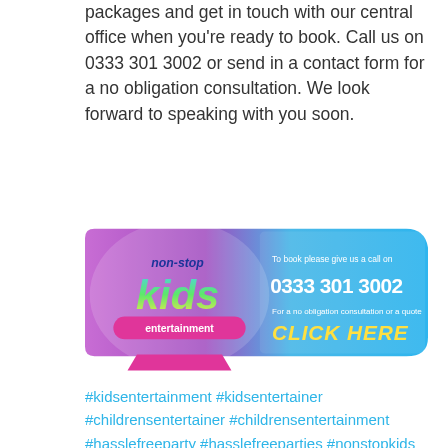packages and get in touch with our central office when you're ready to book. Call us on 0333 301 3002 or send in a contact form for a no obligation consultation. We look forward to speaking with you soon.
[Figure (logo): Non-Stop Kids Entertainment banner with logo on left and contact info: 'To book please give us a call on 0333 301 3002' and 'For a no obligation consultation or a quote CLICK HERE']
#kidsentertainment #kidsentertainer #childrensentertainer #childrensentertainment #hasslefreeparty #hasslefreeparties #nonstopkids #nsk